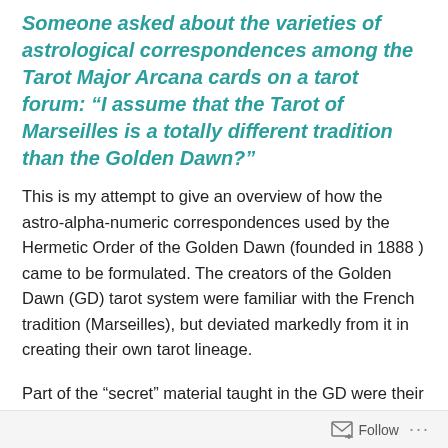Someone asked about the varieties of astrological correspondences among the Tarot Major Arcana cards on a tarot forum: “I assume that the Tarot of Marseilles is a totally different tradition than the Golden Dawn?”
This is my attempt to give an overview of how the astro-alpha-numeric correspondences used by the Hermetic Order of the Golden Dawn (founded in 1888 ) came to be formulated. The creators of the Golden Dawn (GD) tarot system were familiar with the French tradition (Marseilles), but deviated markedly from it in creating their own tarot lineage.
Part of the “secret” material taught in the GD were their unique attributions for the Tarot, which formed the basis for their levels of initiation. Centering on the 1880s, the Tarot
Follow